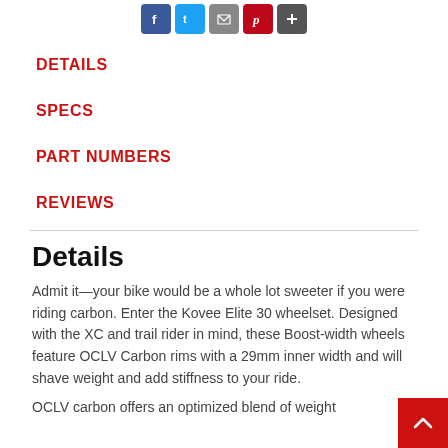[Figure (other): Social media sharing icons: Facebook, Twitter, Email, Pinterest, and a share/plus button]
DETAILS
SPECS
PART NUMBERS
REVIEWS
Details
Admit it—your bike would be a whole lot sweeter if you were riding carbon. Enter the Kovee Elite 30 wheelset. Designed with the XC and trail rider in mind, these Boost-width wheels feature OCLV Carbon rims with a 29mm inner width and will shave weight and add stiffness to your ride.
OCLV carbon offers an optimized blend of weight